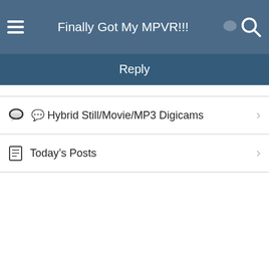Finally Got My MPVR!!!
Reply
Hybrid Still/Movie/MP3 Digicams
Today's Posts